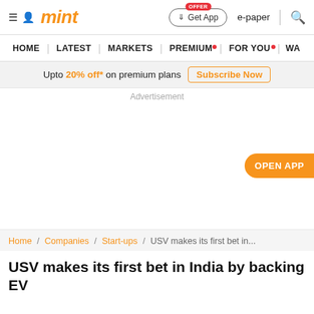mint
HOME | LATEST | MARKETS | PREMIUM | FOR YOU | WA
Upto 20% off* on premium plans  Subscribe Now
Advertisement
OPEN APP
Home / Companies / Start-ups / USV makes its first bet in...
USV makes its first bet in India by backing EV